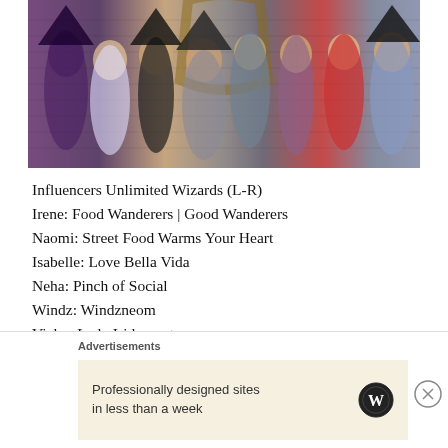[Figure (photo): Group photo of eight people dressed in Harry Potter / wizard costumes including witch hats, robes and cloaks, standing in front of a brick wall with a wooden arch decoration.]
Influencers Unlimited Wizards (L-R)
Irene: Food Wanderers | Good Wanderers
Naomi: Street Food Warms Your Heart
Isabelle: Love Bella Vida
Neha: Pinch of Social
Windz: Windzneom
Vicky: Lady Iridescent
Advertisements
Professionally designed sites in less than a week